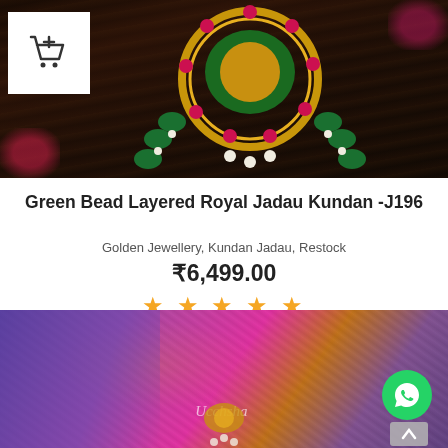[Figure (photo): Close-up photo of a gold Green Bead Layered Royal Jadau Kundan jewelry piece with pink/red gems, green beads, and white pearl drops on dark background. A white add-to-cart icon box appears in the top-left corner.]
Green Bead Layered Royal Jadau Kundan -J196
Golden Jewellery, Kundan Jadau, Restock
₹6,499.00
★★★★★
[Figure (photo): Photo of colorful silk sarees (purple, pink, gold) stacked with a Kundan jewelry piece visible. Ucchsha brand watermark visible. WhatsApp chat button (green circle) in bottom-right, and an up-arrow navigation button below it.]